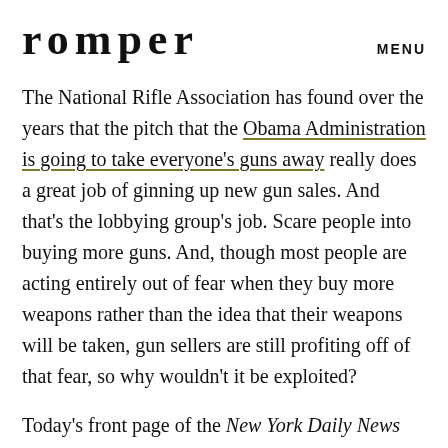romper   MENU
The National Rifle Association has found over the years that the pitch that the Obama Administration is going to take everyone's guns away really does a great job of ginning up new gun sales. And that's the lobbying group's job. Scare people into buying more guns. And, though most people are acting entirely out of fear when they buy more weapons rather than the idea that their weapons will be taken, gun sellers are still profiting off of that fear, so why wouldn't it be exploited?
Today's front page of the New York Daily News lays the responsibility of the mass casualties directly at the feet of the NRA with the headline, "NRA's fight to stop